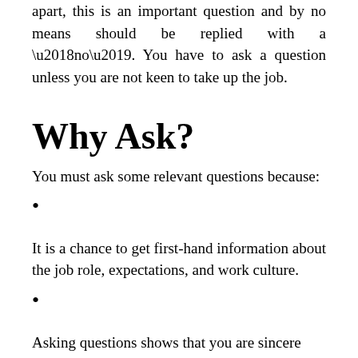apart, this is an important question and by no means should be replied with a ‘no’. You have to ask a question unless you are not keen to take up the job.
Why Ask?
You must ask some relevant questions because:
It is a chance to get first-hand information about the job role, expectations, and work culture.
Asking questions shows that you are sincere